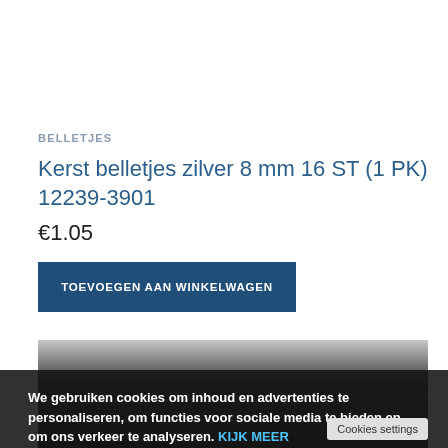BELLETJES
Kerst belletjes zilver 8 mm 16 ST (1 PK) 12239-3901
€1.05
TOEVOEGEN AAN WINKELWAGEN
[Figure (photo): Dark photo of silver jingle bells (kerst belletjes)]
We gebruiken cookies om inhoud en advertenties te personaliseren, om functies voor sociale media te bieden en om ons verkeer te analyseren. KIJK MEER
Cookies settings
✓ Accept
Cookies settings